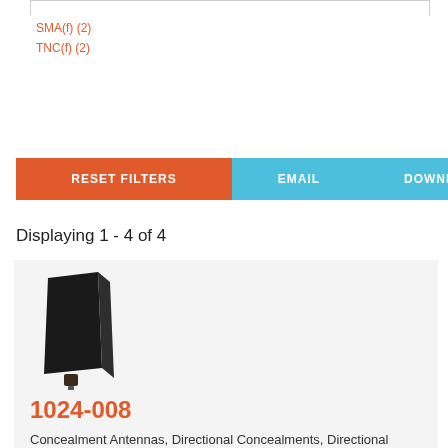SMA(f) (2)
TNC(f) (2)
RESET FILTERS   EMAIL   DOWNLOAD
Displaying 1 - 4 of 4
[Figure (photo): Black panel/directional antenna product photo]
1024-008
Concealment Antennas, Directional Concealments, Directional Antennas, Panel